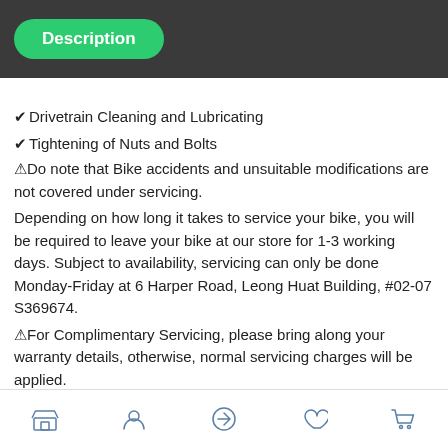Description
✔ Drivetrain Cleaning and Lubricating
✔ Tightening of Nuts and Bolts
⚠Do note that Bike accidents and unsuitable modifications are not covered under servicing.
Depending on how long it takes to service your bike, you will be required to leave your bike at our store for 1-3 working days. Subject to availability, servicing can only be done Monday-Friday at 6 Harper Road, Leong Huat Building, #02-07 S369674.
⚠For Complimentary Servicing, please bring along your warranty details, otherwise, normal servicing charges will be applied.
100% Authentic
Test Ride Available